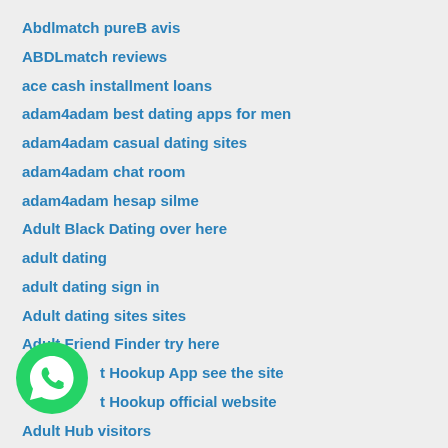Abdlmatch pureB avis
ABDLmatch reviews
ace cash installment loans
adam4adam best dating apps for men
adam4adam casual dating sites
adam4adam chat room
adam4adam hesap silme
Adult Black Dating over here
adult dating
adult dating sign in
Adult dating sites sites
Adult Friend Finder try here
t Hookup App see the site
t Hookup official website
Adult Hub visitors
[Figure (logo): WhatsApp green circle logo with white phone handset icon]